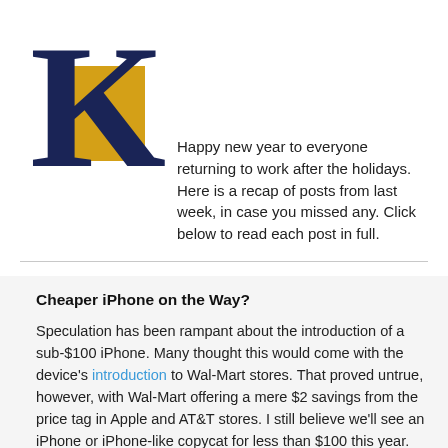[Figure (logo): K logo with dark navy letter K and gold/yellow rectangle background]
Happy new year to everyone returning to work after the holidays. Here is a recap of posts from last week, in case you missed any. Click below to read each post in full.
Cheaper iPhone on the Way?
Speculation has been rampant about the introduction of a sub-$100 iPhone. Many thought this would come with the device's introduction to Wal-Mart stores. That proved untrue, however, with Wal-Mart offering a mere $2 savings from the price tag in Apple and AT&T stores. I still believe we'll see an iPhone or iPhone-like copycat for less than $100 this year. Already, Apple is selling refurbished iPhones for $99. The shape and size of a